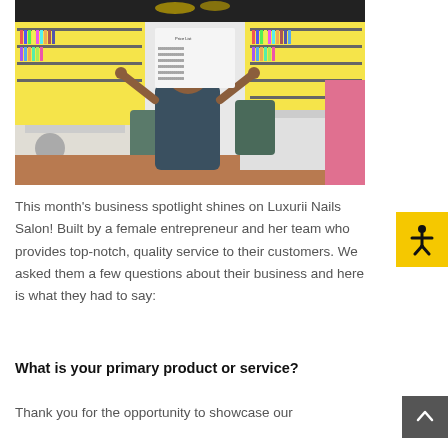[Figure (photo): A woman standing in a nail salon with arms raised, surrounded by nail polish displays and manicure stations.]
This month's business spotlight shines on Luxurii Nails Salon! Built by a female entrepreneur and her team who provides top-notch, quality service to their customers. We asked them a few questions about their business and here is what they had to say:
What is your primary product or service?
Thank you for the opportunity to showcase our